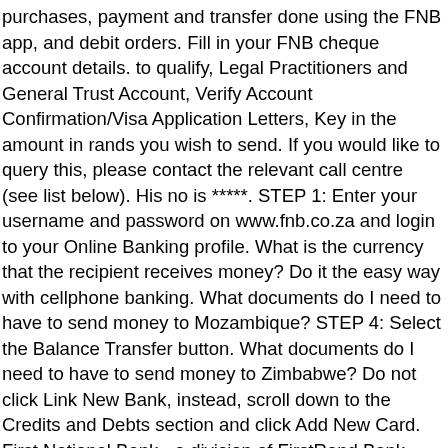purchases, payment and transfer done using the FNB app, and debit orders. Fill in your FNB cheque account details. to qualify, Legal Practitioners and General Trust Account, Verify Account Confirmation/Visa Application Letters, Key in the amount in rands you wish to send. If you would like to query this, please contact the relevant call centre (see list below). His no is *****. STEP 1: Enter your username and password on www.fnb.co.za and login to your Online Banking profile. What is the currency that the recipient receives money? Do it the easy way with cellphone banking. What documents do I need to have to send money to Mozambique? STEP 4: Select the Balance Transfer button. What documents do I need to have to send money to Zimbabwe? Do not click Link New Bank, instead, scroll down to the Credits and Debts section and click Add New Card. First National Bank - a division of FirstRand Bank Limited. When you write one, it's as if you've swiped your credit card. What happens if the recipient does not collect the funds? The funds will not be disbursed to the recipient, as the ID card is part of the authentication process. Dial *120*277# and select 'Protect